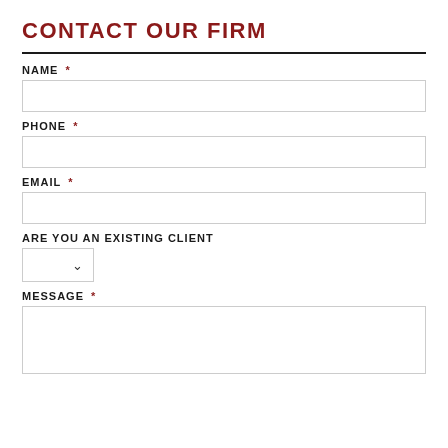CONTACT OUR FIRM
NAME *
PHONE *
EMAIL *
ARE YOU AN EXISTING CLIENT
MESSAGE *